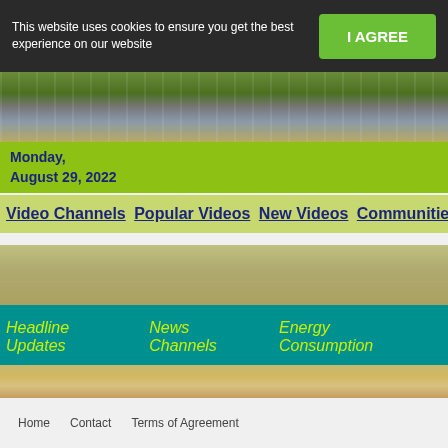This website uses cookies to ensure you get the best experience on our website
I AGREE
[Figure (photo): Hero banner image showing solar panels and green energy imagery]
Monday, August 29, 2022
Video Channels  Popular Videos  New Videos  Communities - C
[Figure (photo): Atmospheric sky/sunset background image]
Headline Updates    News Channels    Energy Consumption
[Figure (photo): Sunset sky background image]
AND Search  OR Search  Phrase Search  Show 10 re
Home   Contact   Terms of Agreement